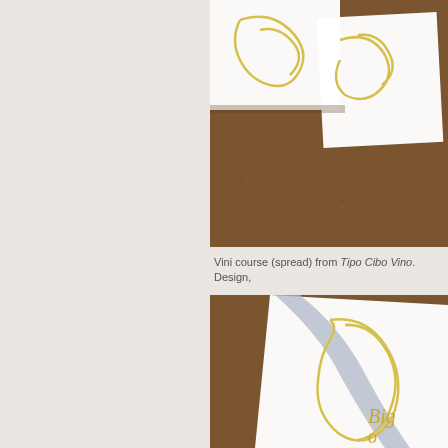[Figure (photo): Top photo: Two white cards/booklets with yellow line illustration designs, photographed on a dark brown cork/wood surface. Partial view cropped at top.]
Vini course (spread) from Tipo Cibo Vino. Design,
[Figure (photo): Bottom photo: White card/booklet with a yellow organic curved line illustration and a diagonal gray/blue stripe. Text reads 'Big o' partially visible. Photographed on dark brown cork/wood surface.]